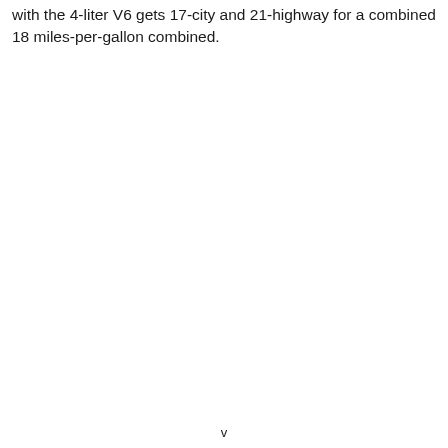with the 4-liter V6 gets 17-city and 21-highway for a combined 18 miles-per-gallon combined.
v